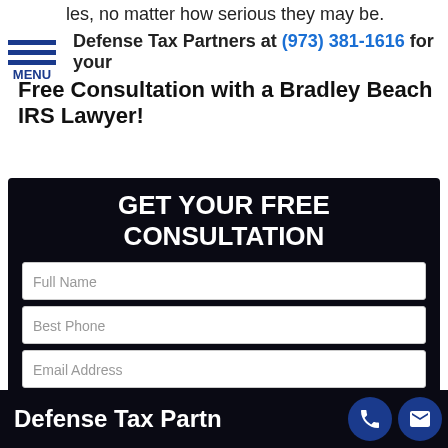les, no matter how serious they may be.
Defense Tax Partners at (973) 381-1616 for your Free Consultation with a Bradley Beach IRS Lawyer!
[Figure (screenshot): Web form with dark background titled GET YOUR FREE CONSULTATION, with fields for Full Name, Best Phone, Email Address, How Can We Help You?, and a SUBMIT MY REQUEST button]
Defense Tax Partners